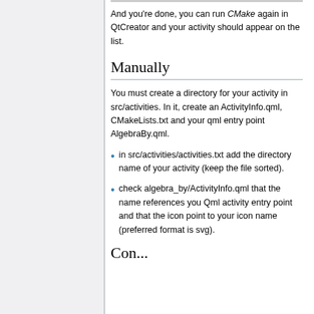And you're done, you can run CMake again in QtCreator and your activity should appear on the list.
Manually
You must create a directory for your activity in src/activities. In it, create an ActivityInfo.qml, CMakeLists.txt and your qml entry point AlgebraBy.qml.
in src/activities/activities.txt add the directory name of your activity (keep the file sorted).
check algebra_by/ActivityInfo.qml that the name references you Qml activity entry point and that the icon point to your icon name (preferred format is svg).
Con...